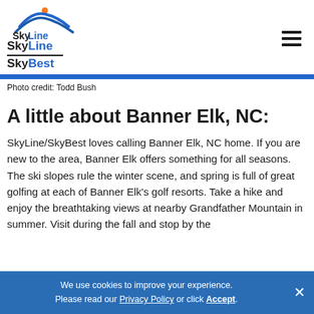[Figure (logo): SkyLine SkyBest logo with orange arc and blue wave graphic]
SkyLine SkyBest
Photo credit: Todd Bush
A little about Banner Elk, NC:
SkyLine/SkyBest loves calling Banner Elk, NC home. If you are new to the area, Banner Elk offers something for all seasons. The ski slopes rule the winter scene, and spring is full of great golfing at each of Banner Elk's golf resorts. Take a hike and enjoy the breathtaking views at nearby Grandfather Mountain in summer. Visit during the fall and stop by the
We use cookies to improve your experience. Please read our Privacy Policy or click Accept.